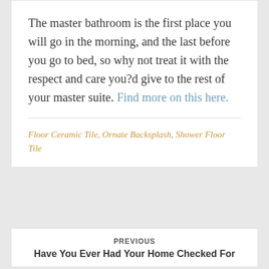The master bathroom is the first place you will go in the morning, and the last before you go to bed, so why not treat it with the respect and care you?d give to the rest of your master suite. Find more on this here.
Floor Ceramic Tile, Ornate Backsplash, Shower Floor Tile
PREVIOUS
Have You Ever Had Your Home Checked For